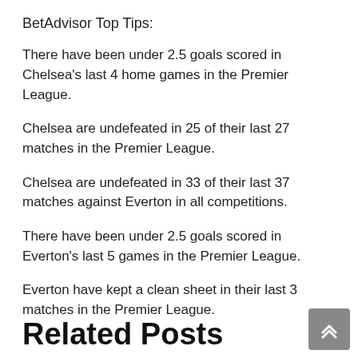BetAdvisor Top Tips:
There have been under 2.5 goals scored in Chelsea's last 4 home games in the Premier League.
Chelsea are undefeated in 25 of their last 27 matches in the Premier League.
Chelsea are undefeated in 33 of their last 37 matches against Everton in all competitions.
There have been under 2.5 goals scored in Everton's last 5 games in the Premier League.
Everton have kept a clean sheet in their last 3 matches in the Premier League.
Related Posts